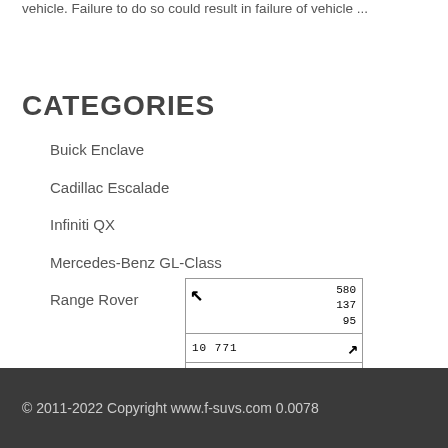vehicle. Failure to do so could result in failure of vehicle ...
CATEGORIES
Buick Enclave
Cadillac Escalade
Infiniti QX
Mercedes-Benz GL-Class
Range Rover
[Figure (other): Navigation/map widget showing coordinates 580, 137, 95 with NW arrow, and two rows: '10 771' with NE arrow, and '89' with NE arrow]
© 2011-2022 Copyright www.f-suvs.com 0.0078